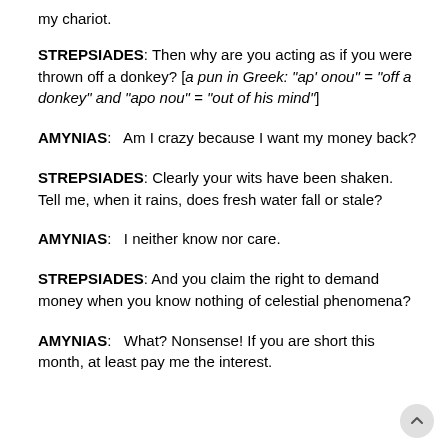my chariot.
STREPSIADES: Then why are you acting as if you were thrown off a donkey? [a pun in Greek: "ap' onou" = "off a donkey" and "apo nou" = "out of his mind"]
AMYNIAS:   Am I crazy because I want my money back?
STREPSIADES: Clearly your wits have been shaken. Tell me, when it rains, does fresh water fall or stale?
AMYNIAS:   I neither know nor care.
STREPSIADES: And you claim the right to demand money when you know nothing of celestial phenomena?
AMYNIAS:   What? Nonsense! If you are short this month, at least pay me the interest.